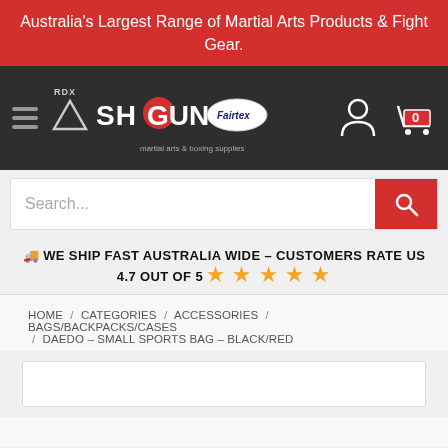Australia's Largest Range of Martial Arts Products & Fight Gear.
[Figure (logo): Shogun martial arts logo with RDX and Fairtex brand logos on dark navigation bar]
Search...
🚚 WE SHIP FAST AUSTRALIA WIDE – CUSTOMERS RATE US 4.7 OUT OF 5 ★★★★★
HOME / CATEGORIES / ACCESSORIES / BAGS/BACKPACKS/CASES / DAEDO – SMALL SPORTS BAG – BLACK/RED